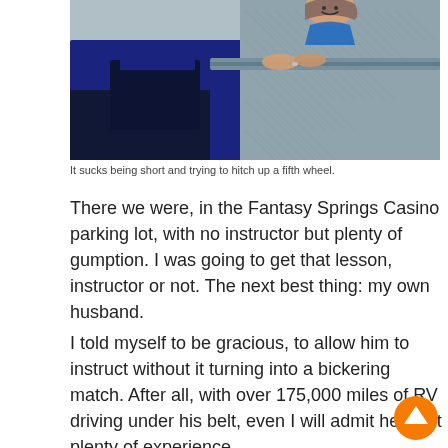[Figure (photo): A woman leaning over the edge of what appears to be a fifth wheel hitch on a trailer, smiling, reaching down with both hands to operate the hitch mechanism. Diamond-plate metal surface visible in the background.]
It sucks being short and trying to hitch up a fifth wheel.
There we were, in the Fantasy Springs Casino parking lot, with no instructor but plenty of gumption. I was going to get that lesson, instructor or not. The next best thing: my own husband.
I told myself to be gracious, to allow him to instruct without it turning into a bickering match. After all, with over 175,000 miles of RV driving under his belt, even I will admit he's got plenty of experience.